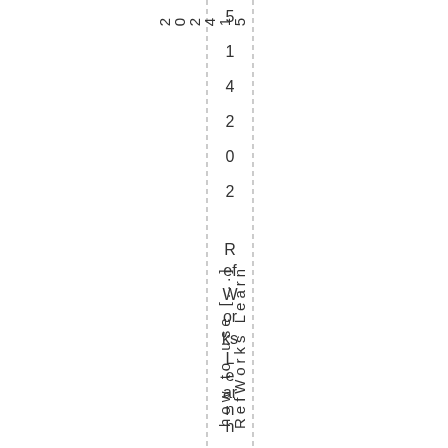5142 02
RefWorks Learn how to use [...]
Nove